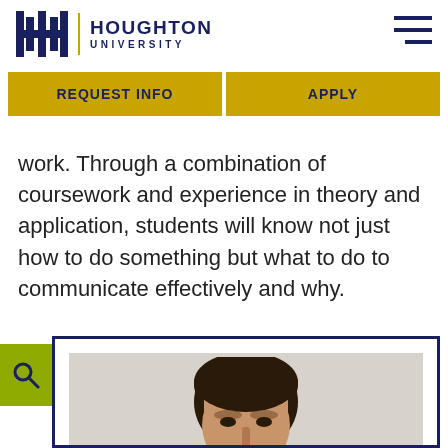Houghton University
REQUEST INFO   APPLY
work. Through a combination of coursework and experience in theory and application, students will know not just how to do something but what to do to communicate effectively and why.
[Figure (photo): Portrait photo of a person, shown from the top of the head and partially visible face, inside a card with a dark navy border on a white background.]